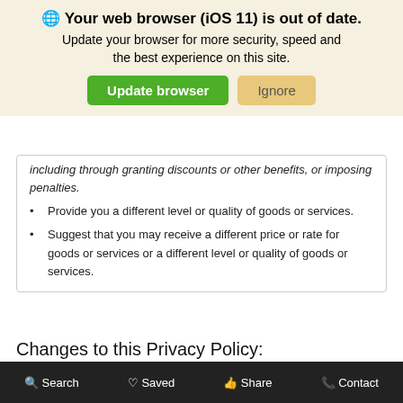[Figure (screenshot): Browser update notification banner: globe icon, bold title 'Your web browser (iOS 11) is out of date.', subtitle 'Update your browser for more security, speed and the best experience on this site.', green 'Update browser' button and tan 'Ignore' button.]
including through granting discounts or other benefits, or imposing penalties.
Provide you a different level or quality of goods or services.
Suggest that you may receive a different price or rate for goods or services or a different level or quality of goods or services.
Changes to this Privacy Policy:
We reserve the right to update and periodically amend this Privacy Policy at our discretion and at any time. If we make changes to this Privacy Notice, amendments will be posted online, and the date of update will be included. Your continued use of this site and affiliated sites after any such update indicates your agreement to the same
Search   Saved   Share   Contact